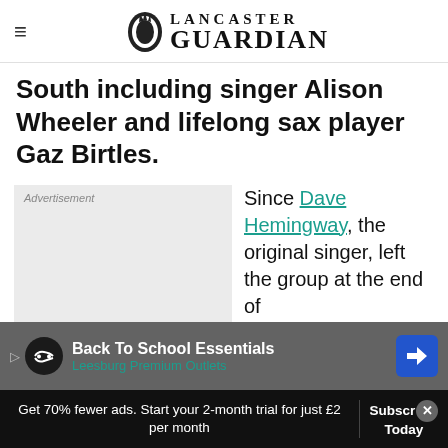Lancaster Guardian
South including singer Alison Wheeler and lifelong sax player Gaz Birtles.
[Figure (other): Advertisement placeholder box (grey)]
Since Dave Hemingway, the original singer, left the group at the end of
[Figure (other): Bottom advertisement bar: Back To School Essentials - Leesburg Premium Outlets]
az has moved
Get 70% fewer ads. Start your 2-month trial for just £2 per month
Subscribe Today